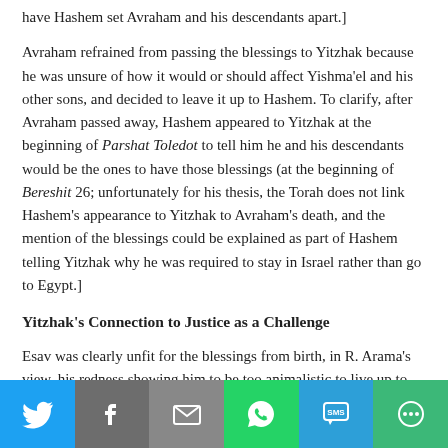have Hashem set Avraham and his descendants apart.]
Avraham refrained from passing the blessings to Yitzhak because he was unsure of how it would or should affect Yishma'el and his other sons, and decided to leave it up to Hashem. To clarify, after Avraham passed away, Hashem appeared to Yitzhak at the beginning of Parshat Toledot to tell him he and his descendants would be the ones to have those blessings (at the beginning of Bereshit 26; unfortunately for his thesis, the Torah does not link Hashem's appearance to Yitzhak to Avraham's death, and the mention of the blessings could be explained as part of Hashem telling Yitzhak why he was required to stay in Israel rather than go to Egypt.)
Yitzhak's Connection to Justice as a Challenge
Esav was clearly unfit for the blessings from birth, in R. Arama's view, his redness showing him to be too animalistic to live up to the blessings. [R. Arama points to the Guide, where Rambam speaks of certain people
[Figure (infographic): Social media sharing bar with Twitter, Facebook, Email, WhatsApp, SMS, and More buttons]